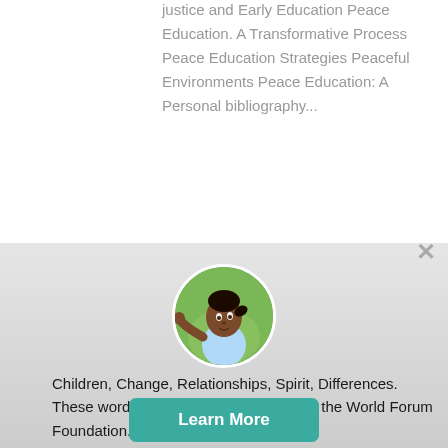justice and Early Education Peace Education. A Transformative Process Peace Education Strategies Peaceful Environments Peace Education: A Personal bibliography...
SEEKING COLLABORATORS
[Figure (photo): Circular avatar photo of a young Black girl looking upward with arm outstretched, set against a green background]
Children, Change, Relationships, Spirit, Differences. These words express the core values of the World Forum Foundation.
Learn More